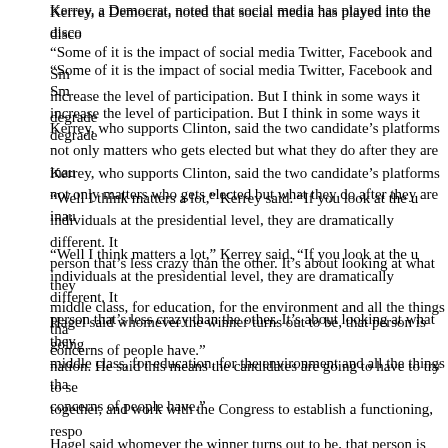Kerrey, a Democrat, noted that social media has played into the disco
“Some of it is the impact of social media Twitter, Facebook and Sm increase the level of participation. But I think in some ways it degrade
Kerrey, who supports Clinton, said the two candidate’s platforms not only matters who gets elected but what they do after they are inau
“Well I think matters a lot,” Kerrey said. “If you look at the u individuals at the presidential level, they are dramatically different. It person that’s less crazy than the other. It’s about looking at what they middle class, for education, for the environment and all the things tha concerns of people have.”
Hagel said whomever the winner turns out to be, that person is going nation. He said this means the candidates are going to have to try to se together, and work with the Congress to establish a functioning, respo
“We’ll come back out of it,” Hagel said. “We’re too good are too good. We will find a new center of gravity of political center o painful for a while.”
Hagel refused to say whom he supports in this campaign but he did m term effects for this election
“To demoralize a nation through a process it should be an enhance